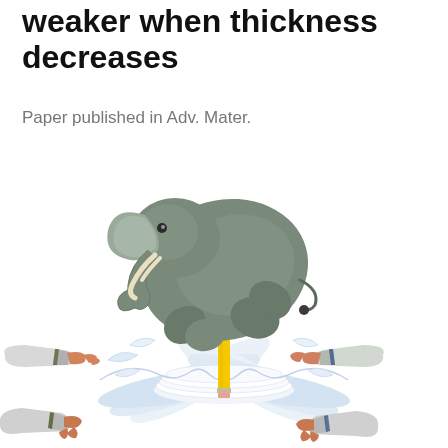weaker when thickness decreases
Paper published in Adv. Mater.
[Figure (illustration): Illustration of an elephant sitting/falling onto a stack of papers, with four scientist hands in lab coats (from four corners) reaching toward the paper stack, and a pencil standing upright in the center of the papers.]